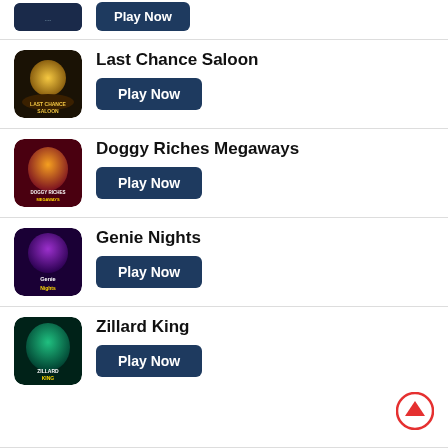[Figure (screenshot): Partial game thumbnail at top of page (cropped)]
Play Now (partial top entry button)
Last Chance Saloon - Play Now
Doggy Riches Megaways - Play Now
Genie Nights - Play Now
Zillard King - Play Now